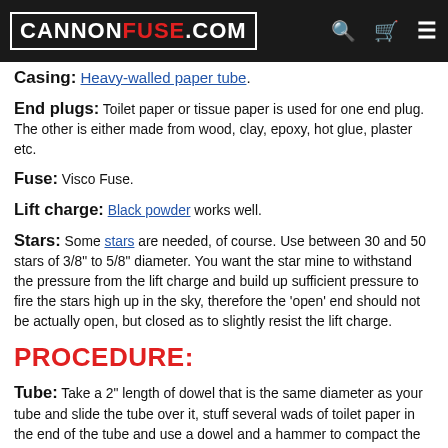CANNONFUSE.COM
Casing: Heavy-walled paper tube.
End plugs: Toilet paper or tissue paper is used for one end plug. The other is either made from wood, clay, epoxy, hot glue, plaster etc.
Fuse: Visco Fuse.
Lift charge: Black powder works well.
Stars: Some stars are needed, of course. Use between 30 and 50 stars of 3/8" to 5/8" diameter. You want the star mine to withstand the pressure from the lift charge and build up sufficient pressure to fire the stars high up in the sky, therefore the 'open' end should not be actually open, but closed as to slightly resist the lift charge.
PROCEDURE:
Tube: Take a 2" length of dowel that is the same diameter as your tube and slide the tube over it, stuff several wads of toilet paper in the end of the tube and use a dowel and a hammer to compact the paper tightly in the tube. Continue